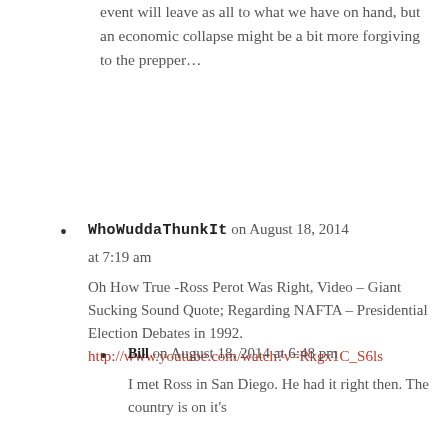event will leave as all to what we have on hand, but an economic collapse might be a bit more forgiving to the prepper…
WhoWuddaThunkIt on August 18, 2014 at 7:19 am

Oh How True -Ross Perot Was Right, Video – Giant Sucking Sound Quote; Regarding NAFTA – Presidential Election Debates in 1992. http://www.youtube.com/watch?v=Rkgx1C_S6ls
Bill on August 18, 2014 at 6:48 pm

I met Ross in San Diego. He had it right then. The country is on it's